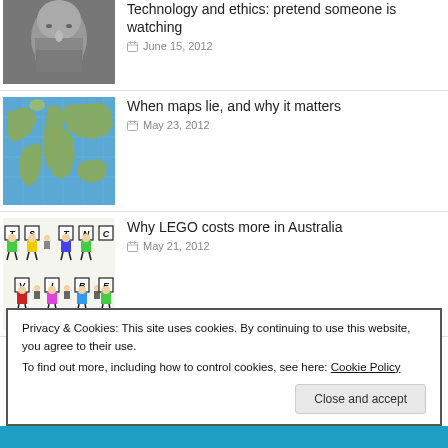[Figure (photo): Statue bust with beard, likely Socrates or similar ancient Greek philosopher, black and white/grayscale]
Technology and ethics: pretend someone is watching
June 15, 2012
[Figure (map): Satellite/topographic world map with blue oceans and continental landmasses]
When maps lie, and why it matters
May 23, 2012
[Figure (illustration): Cartoon LEGO-like figures with letter tiles spelling TSNTHVIBE]
Why LEGO costs more in Australia
May 21, 2012
Privacy & Cookies: This site uses cookies. By continuing to use this website, you agree to their use.
To find out more, including how to control cookies, see here: Cookie Policy
Close and accept